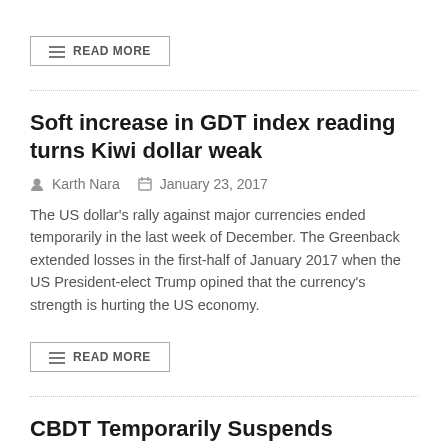READ MORE
Soft increase in GDT index reading turns Kiwi dollar weak
Karth Nara   January 23, 2017
The US dollar's rally against major currencies ended temporarily in the last week of December. The Greenback extended losses in the first-half of January 2017 when the US President-elect Trump opined that the currency's strength is hurting the US economy.
READ MORE
CBDT Temporarily Suspends Foreign Funds Taxation By Investors
Karth Nara   January 19, 2017